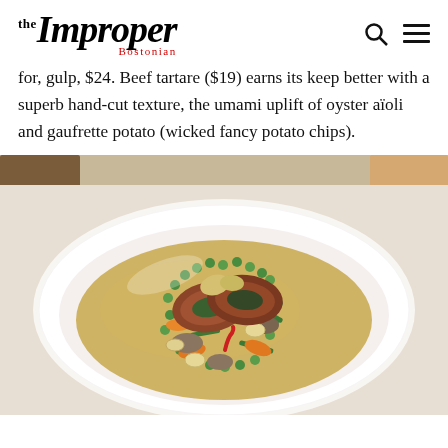the Improper Bostonian
for, gulp, $24. Beef tartare ($19) earns its keep better with a superb hand-cut texture, the umami uplift of oyster aïoli and gaufrette potato (wicked fancy potato chips).
[Figure (photo): A white bowl containing sliced herb-crusted meat medallions served in a golden broth with green peas, green beans, carrots, mushrooms, small pasta/tortellini, and a red chili pepper garnish.]